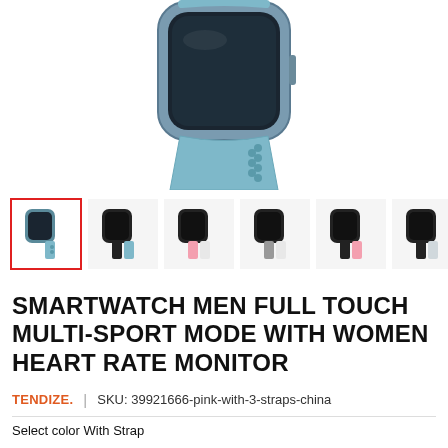[Figure (photo): Smartwatch with blue/steel band, partial view of watch face and band from above, white background]
[Figure (photo): Row of smartwatch product thumbnail images in various color variants: blue, black, pink/white, gray/white, black/pink, black/blue, pink/pink]
SMARTWATCH MEN FULL TOUCH MULTI-SPORT MODE WITH WOMEN HEART RATE MONITOR
TENDIZE.  |  SKU: 39921666-pink-with-3-straps-china
Select color With Strap